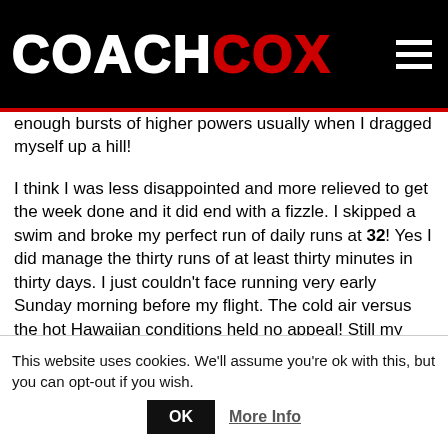COACH COX
enough bursts of higher powers usually when I dragged myself up a hill!
I think I was less disappointed and more relieved to get the week done and it did end with a fizzle. I skipped a swim and broke my perfect run of daily runs at 32! Yes I did manage the thirty runs of at least thirty minutes in thirty days. I just couldn't face running very early Sunday morning before my flight. The cold air versus the hot Hawaiian conditions held no appeal! Still my Saturday ride was pretty strong and more of a return to form. The kind of ride to give a little confidence!
This website uses cookies. We'll assume you're ok with this, but you can opt-out if you wish.